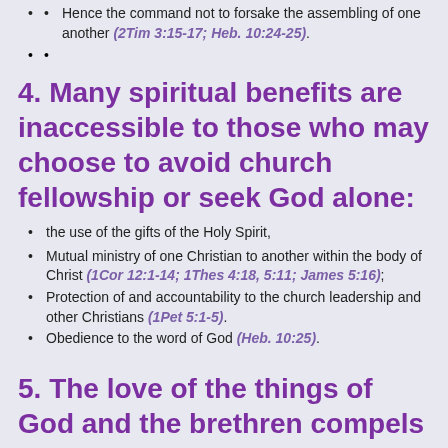Hence the command not to forsake the assembling of one another (2Tim 3:15-17; Heb. 10:24-25).
4. Many spiritual benefits are inaccessible to those who may choose to avoid church fellowship or seek God alone:
the use of the gifts of the Holy Spirit,
Mutual ministry of one Christian to another within the body of Christ (1Cor 12:1-14; 1Thes 4:18, 5:11; James 5:16);
Protection of and accountability to the church leadership and other Christians (1Pet 5:1-5).
Obedience to the word of God (Heb. 10:25).
5. The love of the things of God and the brethren compels us to fellowship together